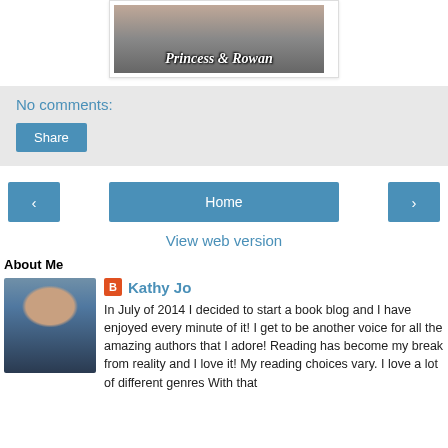[Figure (photo): Book cover image showing 'Princess & Rowan' with two people]
No comments:
Share
‹
Home
›
View web version
About Me
[Figure (photo): Profile photo of Kathy Jo]
Kathy Jo
In July of 2014 I decided to start a book blog and I have enjoyed every minute of it! I get to be another voice for all the amazing authors that I adore! Reading has become my break from reality and I love it! My reading choices vary. I love a lot of different genres With that